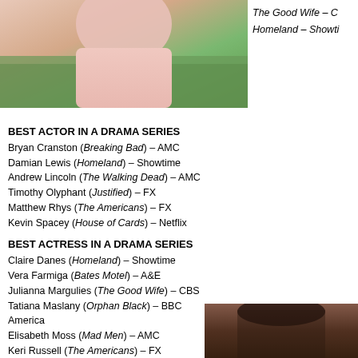[Figure (photo): Partial photo of a person in pink/light clothing against green background, cropped]
The Good Wife – C
Homeland – Showti
BEST ACTOR IN A DRAMA SERIES
Bryan Cranston (Breaking Bad) – AMC
Damian Lewis (Homeland) – Showtime
Andrew Lincoln (The Walking Dead) – AMC
Timothy Olyphant (Justified) – FX
Matthew Rhys (The Americans) – FX
Kevin Spacey (House of Cards) – Netflix
BEST ACTRESS IN A DRAMA SERIES
Claire Danes (Homeland) – Showtime
Vera Farmiga (Bates Motel) – A&E
Julianna Margulies (The Good Wife) – CBS
Tatiana Maslany (Orphan Black) – BBC America
Elisabeth Moss (Mad Men) – AMC
Keri Russell (The Americans) – FX
BEST SUPPORTING ACTOR IN A DRAMA SERIES
Jonathan Banks (Breaking Bad) – AMC
Nikolaj Coster-Waldau (Game of Thrones)
[Figure (photo): Partial photo of a person with dark hair against wooden background, cropped at bottom]